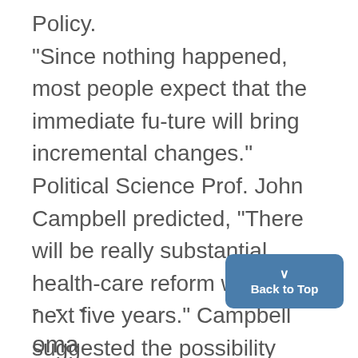Policy. "Since nothing happened, most people expect that the immediate future will bring incremental changes." Political Science Prof. John Campbell predicted, "There will be really substantial health-care reform within the next five years." Campbell suggested the possibility See HEALTH, Page 2
- - -
oma